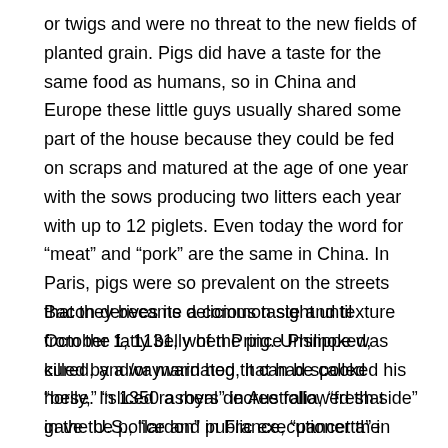or twigs and were no threat to the new fields of planted grain. Pigs did have a taste for the same food as humans, so in China and Europe these little guys usually shared some part of the house because they could be fed on scraps and matured at the age of one year with the sows producing two litters each year with up to 12 piglets. Even today the word for “meat” and “pork” are the same in China. In Paris, pigs were so prevalent on the streets that they became a common sight until October 1, 1131, when Prince Philippe was killed by a wayward hog that had spooked his horse. In 1350 a royal decree followed that gave the police and public executioner the added job of capturing and bringing any loitering pig to the Hotel-dieu for slaughter.
Bacon derives its delicious taste and texture from the fatty belly of the pig. Unsmoked, cured, and/or marinated, it can be called “belly,” “sliced rashers” in Australia, “fresh side” in the U.S., “lardon” in France, “pancetta” in Italy, “Lop yuk” in China and “Jou Buta Bara” in Japan. Bacon itself refers to the cured and smoked